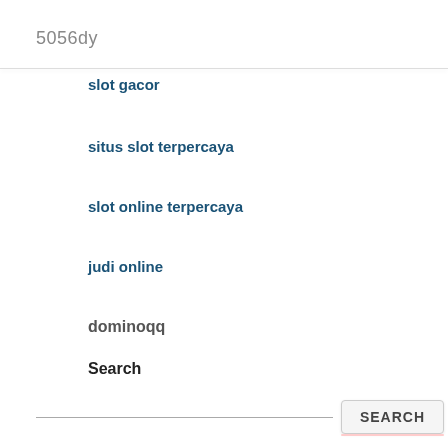5056dy
slot gacor
situs slot terpercaya
slot online terpercaya
judi online
dominoqq
Search
SEARCH